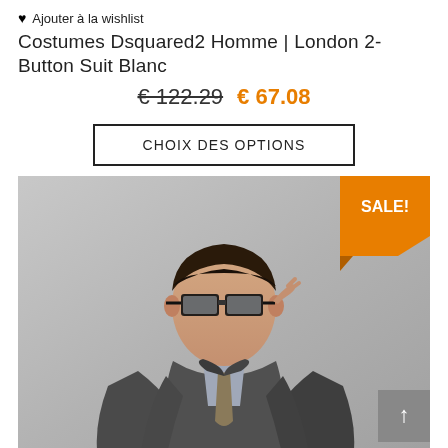♥ Ajouter à la wishlist
Costumes Dsquared2 Homme | London 2-Button Suit Blanc
€ 122.29  € 67.08
CHOIX DES OPTIONS
[Figure (photo): Male model wearing a dark grey suit with tie and black-framed glasses, touching his glasses with one hand, seated. Orange SALE! badge in top right corner. Grey scroll-to-top button at bottom right.]